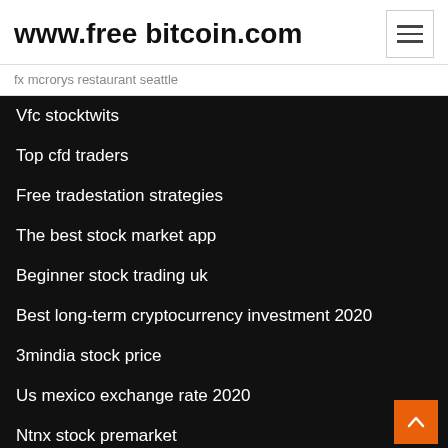www.free bitcoin.com
fx mcrorys restaurant seattle
Vfc stocktwits
Top cfd traders
Free tradestation strategies
The best stock market app
Beginner stock trading uk
Best long-term cryptocurrency investment 2020
3mindia stock price
Us mexico exchange rate 2020
Ntnx stock premarket
Low prices live